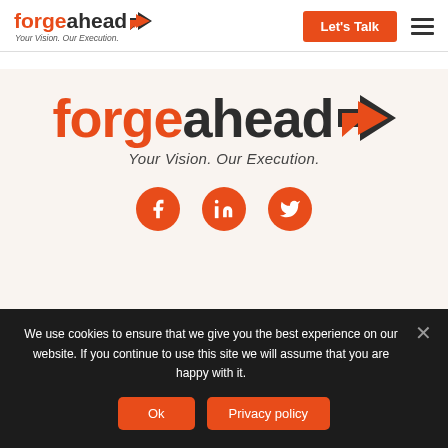[Figure (logo): Forgeahead logo with orange text 'forge' and dark text 'ahead' with orange arrow icon, tagline 'Your Vision. Our Execution.']
Let's Talk
[Figure (logo): Large Forgeahead logo centered with orange 'forge' and dark 'ahead' text, arrow icon, tagline 'Your Vision. Our Execution.']
[Figure (infographic): Three orange circular social media icons: Facebook, LinkedIn, Twitter]
The Forge
Services
We use cookies to ensure that we give you the best experience on our website. If you continue to use this site we will assume that you are happy with it.
Ok
Privacy policy